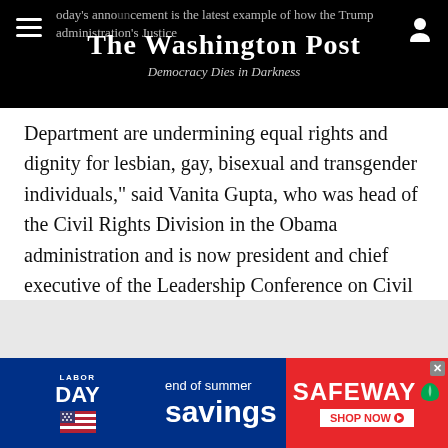The Washington Post — Democracy Dies in Darkness
Department are undermining equal rights and dignity for lesbian, gay, bisexual and transgender individuals," said Vanita Gupta, who was head of the Civil Rights Division in the Obama administration and is now president and chief executive of the Leadership Conference on Civil and Human Rights.
Justice spokesman Devin M. O’Malley said Sessions changed the policy because the previous administration had not accurately interpreted the civil rights law.
[Figure (infographic): Safeway Labor Day end of summer savings advertisement banner]